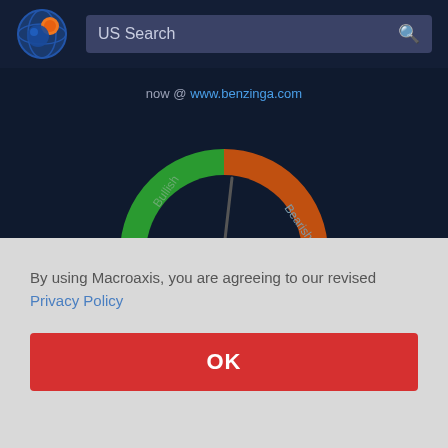[Figure (logo): Macroaxis globe logo with orange and blue colors]
US Search
now @ www.benzinga.com
[Figure (other): Sentiment gauge dial showing Bullish (green) and Bearish (orange) sections with needle pointing slightly toward Bearish, value shown as 59.1%]
By using Macroaxis, you are agreeing to our revised Privacy Policy
OK